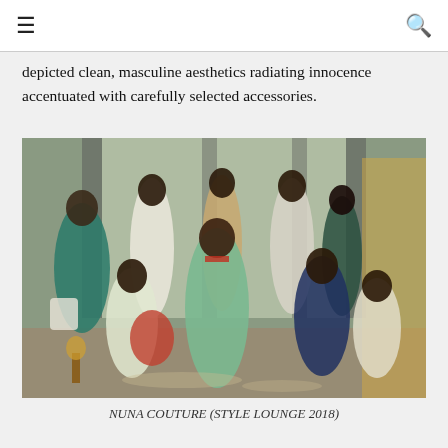depicted clean, masculine aesthetics radiating innocence accentuated with carefully selected accessories.
[Figure (photo): Group photo of models wearing Nuna Couture designs at Style Lounge 2018. Multiple women in colorful African-inspired fashion are posed in a bright indoor space with large windows. Outfits include green, teal, white, navy, and red garments; models carry woven baskets and handbags.]
NUNA COUTURE (STYLE LOUNGE 2018)